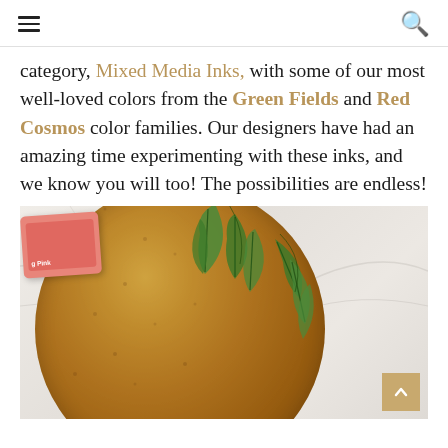[hamburger menu icon] [search icon]
category, Mixed Media Inks, with some of our most well-loved colors from the Green Fields and Red Cosmos color families. Our designers have had an amazing time experimenting with these inks, and we know you will too! The possibilities are endless!
[Figure (photo): A round cork board with green tropical leaf designs stamped or painted on it, viewed from above on a marble surface. A pink ink pad is visible in the upper left corner of the image.]